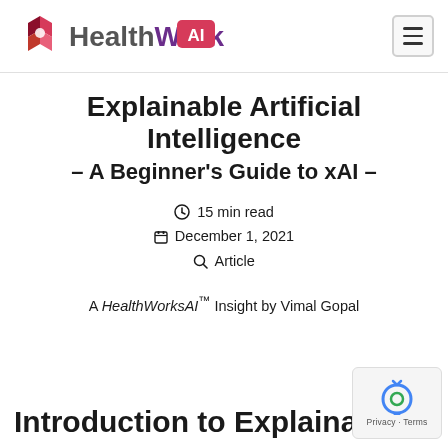HealthWorks AI
Explainable Artificial Intelligence – A Beginner's Guide to xAI –
🕐 15 min read
📅 December 1, 2021
🔍 Article
A HealthWorksAI™ Insight by Vimal Gopal
Introduction to Explainable